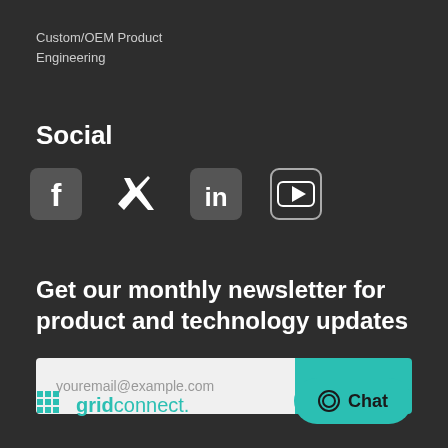Custom/OEM Product Engineering
Social
[Figure (other): Social media icons: Facebook, Twitter, LinkedIn, YouTube]
Get our monthly newsletter for product and technology updates
[Figure (other): Email input field with placeholder 'youremail@example.com' and a teal Submit button]
[Figure (other): Teal Chat button with speech bubble icon at bottom right]
[Figure (logo): Grid Connect logo with teal grid dots and teal text 'gridconnect.' at bottom left]